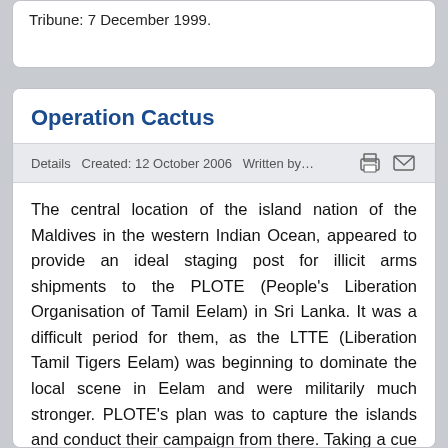Tribune: 7 December 1999.
Operation Cactus
Details   Created: 12 October 2006   Written by…
The central location of the island nation of the Maldives in the western Indian Ocean, appeared to provide an ideal staging post for illicit arms shipments to the PLOTE (People's Liberation Organisation of Tamil Eelam) in Sri Lanka. It was a difficult period for them, as the LTTE (Liberation Tamil Tigers Eelam) was beginning to dominate the local scene in Eelam and were militarily much stronger. PLOTE's plan was to capture the islands and conduct their campaign from there. Taking a cue from previous mercenary-led coups in the Indian Ocean, two trawlers landed about 150 PLOTE mercenaries on the island at 0415 hours on 3 November 1988. Using rockets and grenades, the mercenaries quickly overpowered the